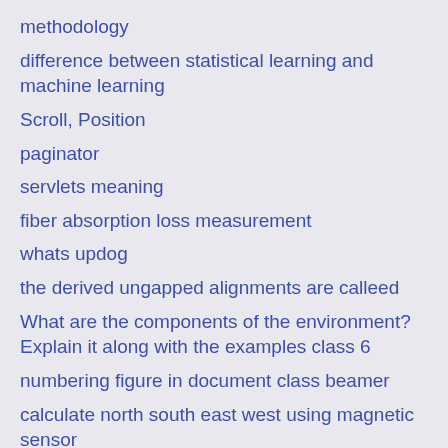methodology
difference between statistical learning and machine learning
Scroll, Position
paginator
servlets meaning
fiber absorption loss measurement
whats updog
the derived ungapped alignments are calleed
What are the components of the environment? Explain it along with the examples class 6
numbering figure in document class beamer
calculate north south east west using magnetic sensor